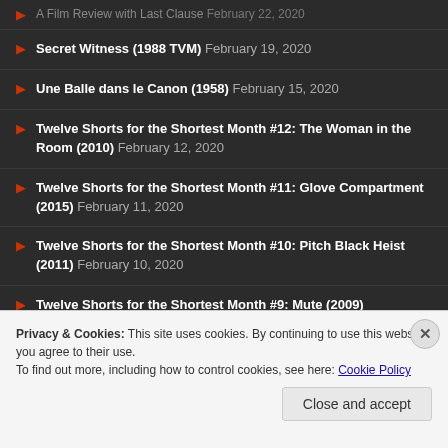Secret Witness (1988 TVM) February 19, 2020
Une Balle dans le Canon (1958) February 15, 2020
Twelve Shorts for the Shortest Month #12: The Woman in the Room (2010) February 12, 2020
Twelve Shorts for the Shortest Month #11: Glove Compartment (2015) February 11, 2020
Twelve Shorts for the Shortest Month #10: Pitch Black Heist (2011) February 10, 2020
Twelve Shorts for the Shortest Month #9: Mute (2009) February 9, 2020
Privacy & Cookies: This site uses cookies. By continuing to use this website, you agree to their use.
To find out more, including how to control cookies, see here: Cookie Policy
Close and accept